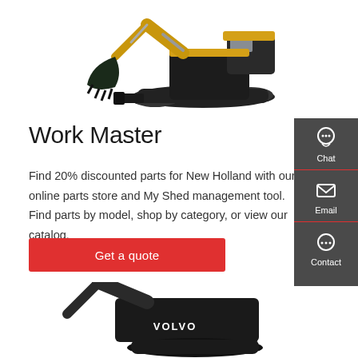[Figure (photo): Mini excavator with yellow and black color scheme, arm extended with bucket, on tracked undercarriage with blade]
Work Master
Find 20% discounted parts for New Holland with our online parts store and My Shed management tool. Find parts by model, shop by category, or view our catalog.
[Figure (infographic): Red button labeled 'Get a quote']
[Figure (infographic): Dark grey sidebar with Chat, Email, and Contact icons and labels]
[Figure (photo): Volvo branded dark excavator, partially visible at bottom of page]